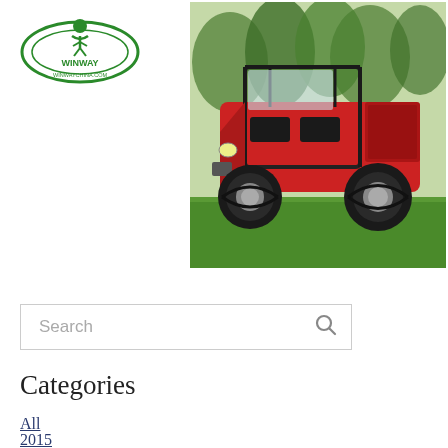[Figure (logo): Winway logo - green circular emblem with stylized figure and text 'WINWAY' and 'WINWAYCHINA.COM']
[Figure (photo): Red utility task vehicle (UTV/side-by-side) parked on grass with trees in background, black roll cage, large off-road tires]
Search
Categories
All
2015
Attention
ATV
Buggies
CFMOTO
China Jeep
China Vehicle